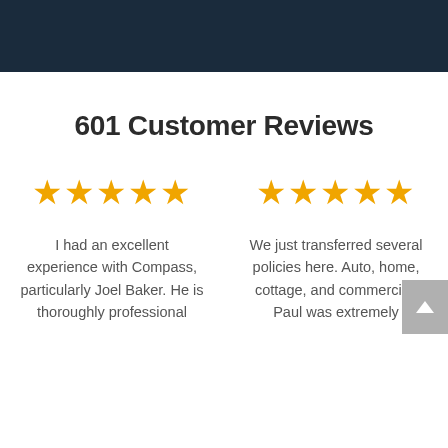601 Customer Reviews
I had an excellent experience with Compass, particularly Joel Baker. He is thoroughly professional
We just transferred several policies here. Auto, home, cottage, and commercial. Paul was extremely